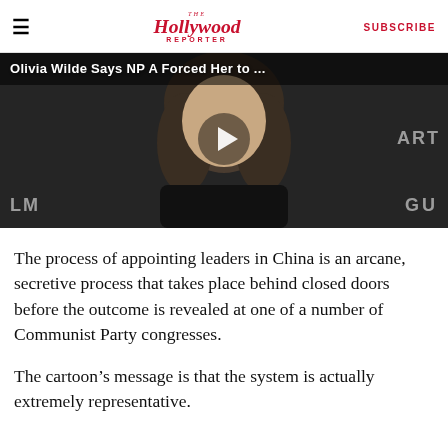The Hollywood Reporter | SUBSCRIBE
[Figure (screenshot): Video thumbnail showing a woman (Olivia Wilde) at an event, with a play button overlay and partial text 'Olivia Wilde Says NP A Forced Her to ...' at the top]
The process of appointing leaders in China is an arcane, secretive process that takes place behind closed doors before the outcome is revealed at one of a number of Communist Party congresses.
The cartoon’s message is that the system is actually extremely representative.